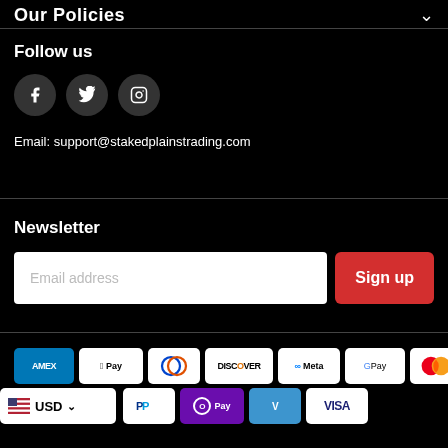Our Policies
Follow us
[Figure (illustration): Three social media icons: Facebook (f), Twitter (bird), Instagram (camera) as dark circular buttons]
Email: support@stakedplainstrading.com
Newsletter
Email address (input field) with Sign up button
[Figure (illustration): Payment method badges: AMEX, Apple Pay, Diners Club, Discover, Meta Pay, Google Pay, Mastercard (row 1); USD currency selector, PayPal, OPay, Venmo, VISA (row 2)]